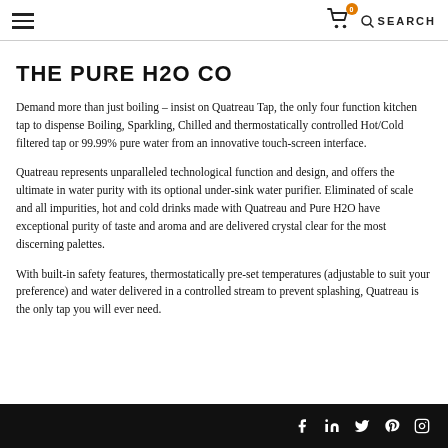☰  🛒 0  🔍 SEARCH
THE PURE H2O CO
Demand more than just boiling – insist on Quatreau Tap, the only four function kitchen tap to dispense Boiling, Sparkling, Chilled and thermostatically controlled Hot/Cold filtered tap or 99.99% pure water from an innovative touch-screen interface.
Quatreau represents unparalleled technological function and design, and offers the ultimate in water purity with its optional under-sink water purifier. Eliminated of scale and all impurities, hot and cold drinks made with Quatreau and Pure H2O have exceptional purity of taste and aroma and are delivered crystal clear for the most discerning palettes.
With built-in safety features, thermostatically pre-set temperatures (adjustable to suit your preference) and water delivered in a controlled stream to prevent splashing, Quatreau is the only tap you will ever need.
Social icons: Facebook, LinkedIn, Twitter, Pinterest, Instagram